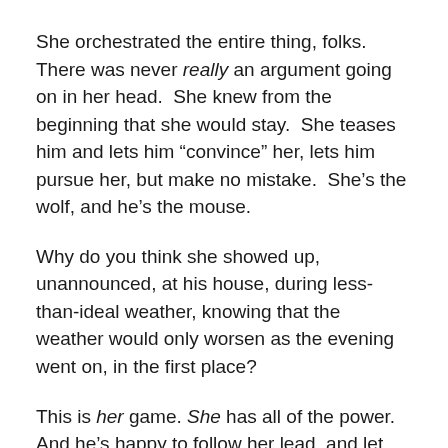She orchestrated the entire thing, folks.  There was never really an argument going on in her head.  She knew from the beginning that she would stay.  She teases him and lets him “convince” her, lets him pursue her, but make no mistake.  She’s the wolf, and he’s the mouse.
Why do you think she showed up, unannounced, at his house, during less-than-ideal weather, knowing that the weather would only worsen as the evening went on, in the first place?
This is her game. She has all of the power. And he’s happy to follow her lead, and let her take control.
I don’t understand how it’s even possible to interpret this song as even remotely non-consensual.
“She may have been playing coy, afraid that he’d hurt her.”